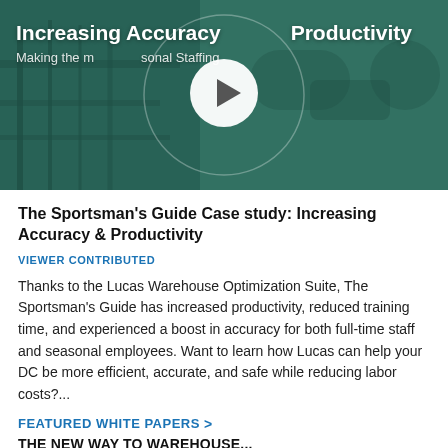[Figure (screenshot): Video thumbnail showing industrial warehouse/factory scene with teal overlay. Bold white title 'Increasing Accuracy & Productivity' and subtitle 'Making the Most of Seasonal Staffing'. A white play button circle is centered over the image.]
The Sportsman's Guide Case study: Increasing Accuracy & Productivity
VIEWER CONTRIBUTED
Thanks to the Lucas Warehouse Optimization Suite, The Sportsman's Guide has increased productivity, reduced training time, and experienced a boost in accuracy for both full-time staff and seasonal employees. Want to learn how Lucas can help your DC be more efficient, accurate, and safe while reducing labor costs?...
FEATURED WHITE PAPERS >
THE NEW WAY TO WAREHOUSE...